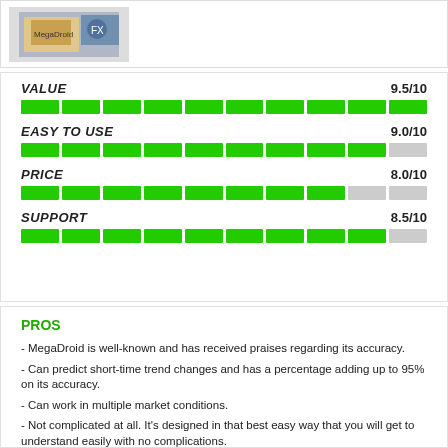[Figure (photo): Product image thumbnail showing a book/software cover]
VALUE 9.5/10
EASY TO USE 9.0/10
PRICE 8.0/10
SUPPORT 8.5/10
PROS
- MegaDroid is well-known and has received praises regarding its accuracy.
- Can predict short-time trend changes and has a percentage adding up to 95% on its accuracy.
- Can work in multiple market conditions.
- Not complicated at all. It's designed in that best easy way that you will get to understand easily with no complications.